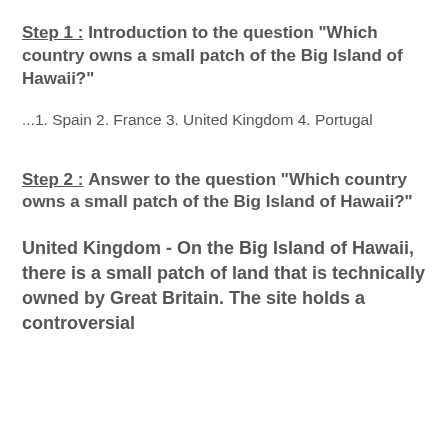Step 1 : Introduction to the question "Which country owns a small patch of the Big Island of Hawaii?"
...1. Spain 2. France 3. United Kingdom 4. Portugal
Step 2 : Answer to the question "Which country owns a small patch of the Big Island of Hawaii?"
United Kingdom - On the Big Island of Hawaii, there is a small patch of land that is technically owned by Great Britain. The site holds a controversial